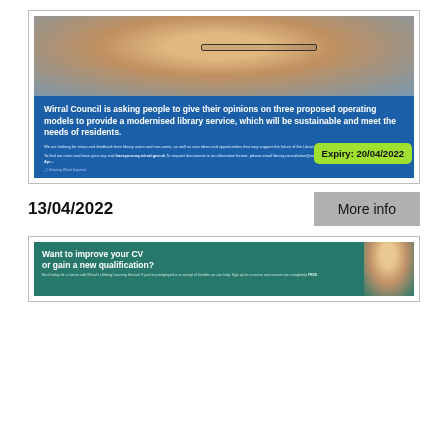[Figure (photo): Wirral Council library consultation advertisement. Shows an elderly man with glasses looking at a book (top half photo), and a blue panel below with bold white text asking for public opinions on three proposed operating models for a modernised library service. An expiry badge reads 'Expiry: 20/04/2022'.]
13/04/2022
More info
[Figure (photo): Advertisement for Wirral's Lifelong Learning Service asking 'Want to improve your CV or gain a new qualification?' on a dark teal background with a photo of a woman.]